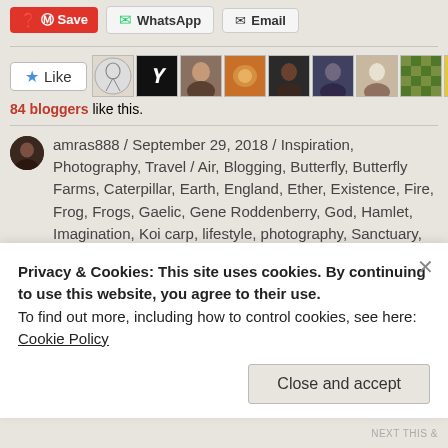Save | WhatsApp | Email
84 bloggers like this.
amras888 / September 29, 2018 / Inspiration, Photography, Travel / Air, Blogging, Butterfly, Butterfly Farms, Caterpillar, Earth, England, Ether, Existence, Fire, Frog, Frogs, Gaelic, Gene Roddenberry, God, Hamlet, Imagination, Koi carp, lifestyle, photography, Sanctuary,
Privacy & Cookies: This site uses cookies. By continuing to use this website, you agree to their use.
To find out more, including how to control cookies, see here:
Cookie Policy
Close and accept